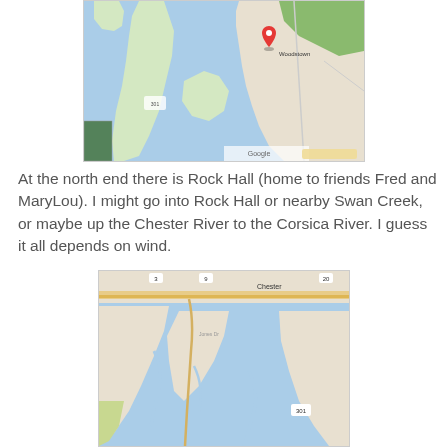[Figure (map): Google Maps screenshot showing coastal waterways of the Chesapeake Bay area with a red map pin marker labeled Woodstown]
At the north end there is Rock Hall (home to friends Fred and MaryLou).  I might go into Rock Hall or nearby Swan Creek, or maybe up the Chester River to the Corsica River.  I guess it all depends on wind.
[Figure (map): Google Maps screenshot showing the Chester River area with roads and waterways near Chestertown, Maryland]